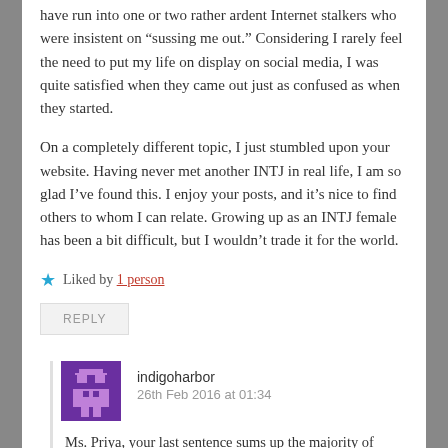have run into one or two rather ardent Internet stalkers who were insistent on “sussing me out.” Considering I rarely feel the need to put my life on display on social media, I was quite satisfied when they came out just as confused as when they started.
On a completely different topic, I just stumbled upon your website. Having never met another INTJ in real life, I am so glad I’ve found this. I enjoy your posts, and it’s nice to find others to whom I can relate. Growing up as an INTJ female has been a bit difficult, but I wouldn’t trade it for the world.
★ Liked by 1 person
REPLY
indigoharbor
26th Feb 2016 at 01:34
Ms. Priya, your last sentence sums up the majority of